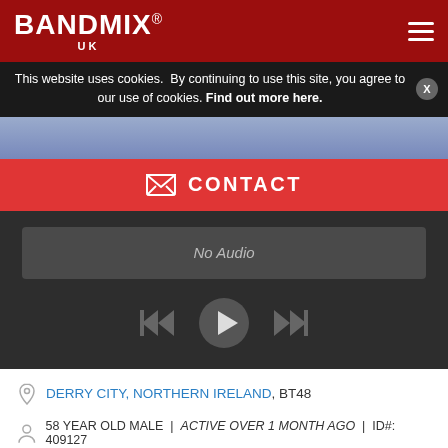BANDMIX® UK
This website uses cookies. By continuing to use this site, you agree to our use of cookies. Find out more here.
[Figure (photo): Partial photo strip showing persons in background]
✉ CONTACT
No Audio
DERRY CITY, NORTHERN IRELAND, BT48
58 YEAR OLD MALE | ACTIVE OVER 1 MONTH AGO | ID#: 409127
MUSICIAN | OTHER, FOLK, SOUTHERN ROCK